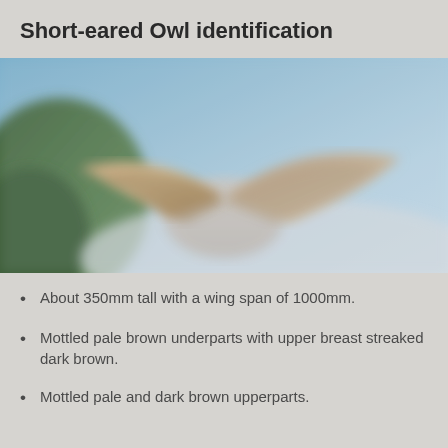Short-eared Owl identification
[Figure (photo): Blurred photograph of a Short-eared Owl in flight against a blue sky background with green foliage visible on the left side.]
About 350mm tall with a wing span of 1000mm.
Mottled pale brown underparts with upper breast streaked dark brown.
Mottled pale and dark brown upperparts.